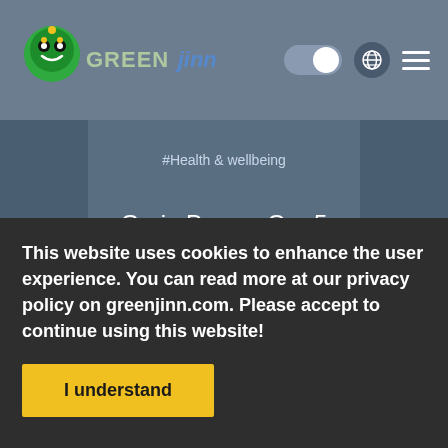GREEN Jinn (logo with navigation icons)
#Health & wellbeing
Grain Power: Our 5 Favourite Whole Grains
This website uses cookies to enhance the user experience. You can read more at our privacy policy on greenjinn.com. Please accept to continue using this website!
I understand